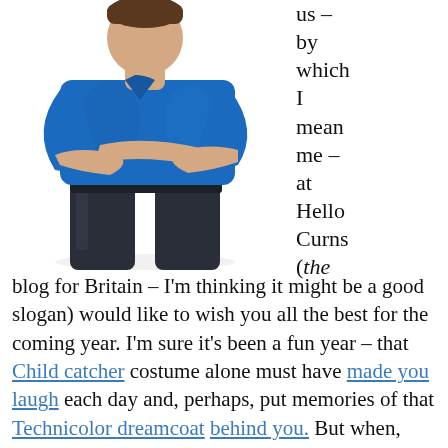[Figure (photo): A man in a blue t-shirt and dark jeans standing with arms crossed, shown from approximately the waist up against a white background.]
us – by which I mean me – at Hello Curns (the blog for Britain – I'm thinking it might be a good slogan) would like to wish you all the best for the coming year. I'm sure it's been a fun year – that Child catcher costume alone must have made you laugh each day and, perhaps, put memories of that Technicolor dreamcoat behind you. But when, dear boy (and I say that